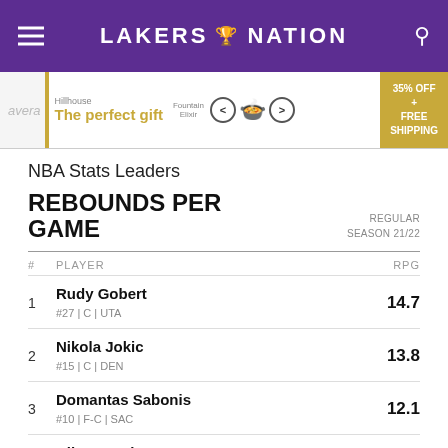LAKERS NATION
[Figure (screenshot): Advertisement banner: The perfect gift, 35% OFF + FREE SHIPPING]
NBA Stats Leaders
REBOUNDS PER GAME
REGULAR SEASON 21/22
| # | PLAYER | RPG |
| --- | --- | --- |
| 1 | Rudy Gobert
#27 | C | UTA | 14.7 |
| 2 | Nikola Jokic
#15 | C | DEN | 13.8 |
| 3 | Domantas Sabonis
#10 | F-C | SAC | 12.1 |
| 4 | Clint Capela
#15 | C | ATL | 11.9 |
| 5 | Joel Embiid
... | 11.7 |